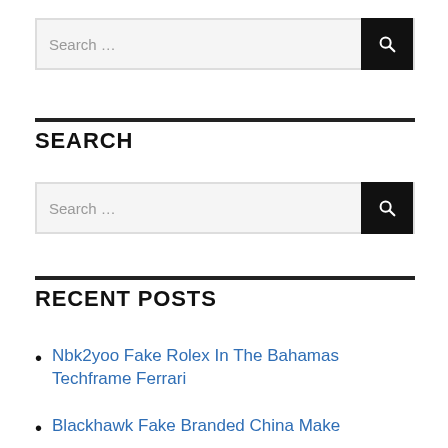[Figure (screenshot): Search bar with magnifying glass button icon, input shows 'Search ...' placeholder text]
SEARCH
[Figure (screenshot): Second search bar with magnifying glass button icon, input shows 'Search ...' placeholder text]
RECENT POSTS
Nbk2yoo Fake Rolex In The Bahamas Techframe Ferrari
Blackhawk Fake Branded China Make